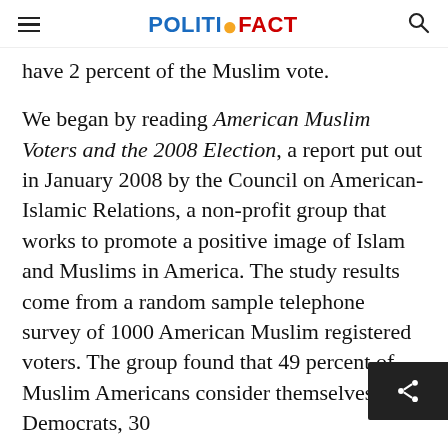POLITIFACT
have 2 percent of the Muslim vote.
We began by reading American Muslim Voters and the 2008 Election, a report put out in January 2008 by the Council on American-Islamic Relations, a non-profit group that works to promote a positive image of Islam and Muslims in America. The study results come from a random sample telephone survey of 1000 American Muslim registered voters. The group found that 49 percent of Muslim Americans consider themselves Democrats, 30